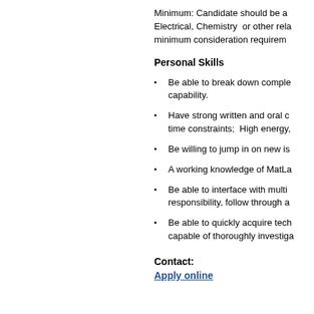Minimum: Candidate should be a Electrical, Chemistry or other rela minimum consideration requirem
Personal Skills
Be able to break down complex capability.
Have strong written and oral co time constraints; High energy,
Be willing to jump in on new is
A working knowledge of MatLa
Be able to interface with multi responsibility, follow through a
Be able to quickly acquire tech capable of thoroughly investiga
Contact:
Apply online